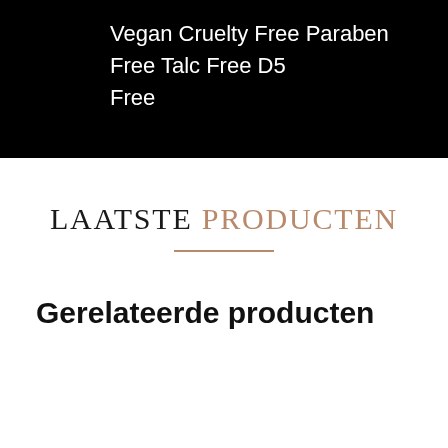Vegan Cruelty Free Paraben Free Talc Free D5 Free
LAATSTE PRODUCTEN
Gerelateerde producten